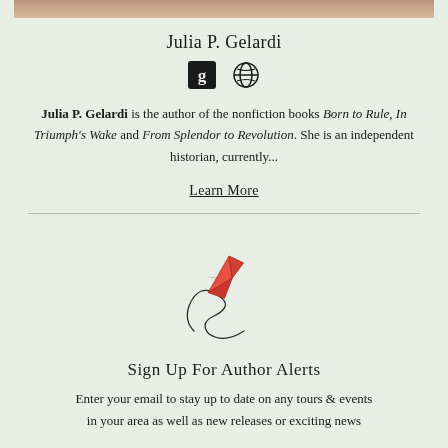[Figure (photo): Partial photo of Julia P. Gelardi at top of page, cropped]
Julia P. Gelardi
[Figure (illustration): Two icons: a Goodreads 'g' icon (dark square with g) and a globe/website icon]
Julia P. Gelardi is the author of the nonfiction books Born to Rule, In Triumph's Wake and From Splendor to Revolution. She is an independent historian, currently...
Learn More
[Figure (illustration): Red paper airplane illustration with a looping trail line below it]
Sign Up For Author Alerts
Enter your email to stay up to date on any tours & events in your area as well as new releases or exciting news